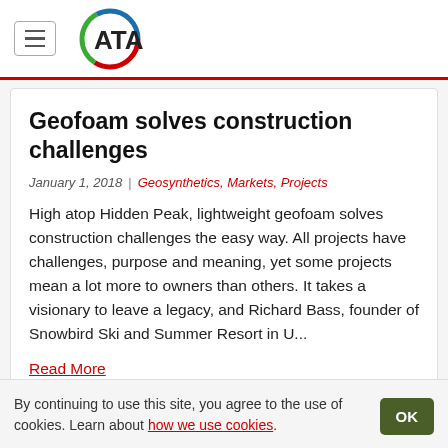ATA
Geofoam solves construction challenges
January 1, 2018 | Geosynthetics, Markets, Projects
High atop Hidden Peak, lightweight geofoam solves construction challenges the easy way. All projects have challenges, purpose and meaning, yet some projects mean a lot more to owners than others. It takes a visionary to leave a legacy, and Richard Bass, founder of Snowbird Ski and Summer Resort in U...
Read More
By continuing to use this site, you agree to the use of cookies. Learn about how we use cookies.